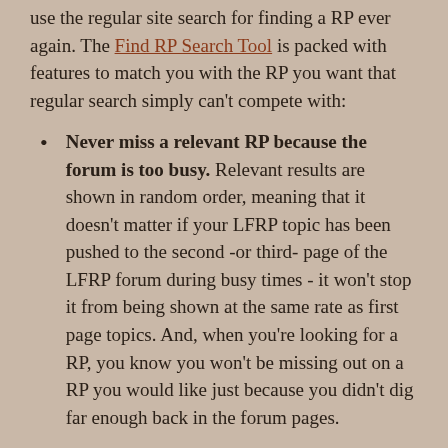use the regular site search for finding a RP ever again. The Find RP Search Tool is packed with features to match you with the RP you want that regular search simply can't compete with:
Never miss a relevant RP because the forum is too busy. Relevant results are shown in random order, meaning that it doesn't matter if your LFRP topic has been pushed to the second -or third- page of the LFRP forum during busy times - it won't stop it from being shown at the same rate as first page topics. And, when you're looking for a RP, you know you won't be missing out on a RP you would like just because you didn't dig far enough back in the forum pages.
Not interested in a RP? Don't see it as a